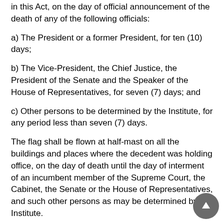in this Act, on the day of official announcement of the death of any of the following officials:
a) The President or a former President, for ten (10) days;
b) The Vice-President, the Chief Justice, the President of the Senate and the Speaker of the House of Representatives, for seven (7) days; and
c) Other persons to be determined by the Institute, for any period less than seven (7) days.
The flag shall be flown at half-mast on all the buildings and places where the decedent was holding office, on the day of death until the day of interment of an incumbent member of the Supreme Court, the Cabinet, the Senate or the House of Representatives, and such other persons as may be determined by the Institute.
The flag when flown at half-mast shall be first hoisted to the peak for a moment then lowered to the half-mast position. The flag shall again be raised to the peak before it is lowered for the day.
E. Casket